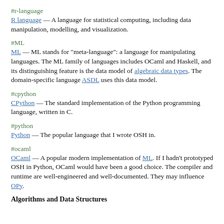#r-language
R language — A language for statistical computing, including data manipulation, modelling, and visualization.
#ML
ML — ML stands for "meta-language": a language for manipulating languages. The ML family of languages includes OCaml and Haskell, and its distinguishing feature is the data model of algebraic data types. The domain-specific language ASDL uses this data model.
#cpython
CPython — The standard implementation of the Python programming language, written in C.
#python
Python — The popular language that I wrote OSH in.
#ocaml
OCaml — A popular modern implementation of ML. If I hadn't prototyped OSH in Python, OCaml would have been a good choice. The compiler and runtime are well-engineered and well-documented. They may influence OPy.
Algorithms and Data Structures